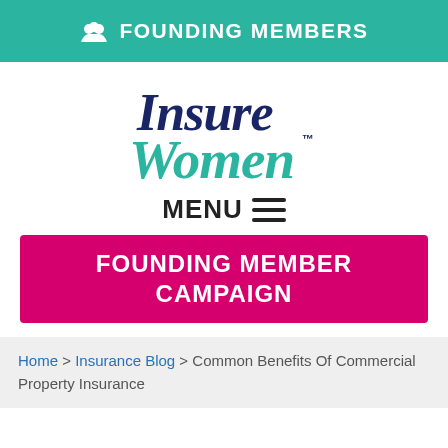FOUNDING MEMBERS
[Figure (logo): Insure Women logo with 'Insure' in dark navy and 'Women' in teal, with TM mark]
MENU ☰
FOUNDING MEMBER CAMPAIGN
Home > Insurance Blog > Common Benefits Of Commercial Property Insurance